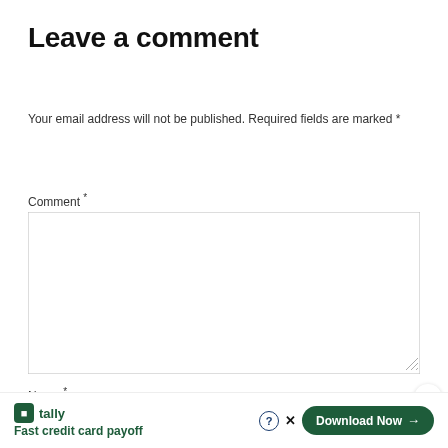Leave a comment
Your email address will not be published. Required fields are marked *
Comment *
[Figure (screenshot): Empty comment textarea input field with resize handle]
Name *
[Figure (screenshot): Name text input field, partially visible]
[Figure (screenshot): Tally advertisement bar at bottom: Fast credit card payoff, Download Now button]